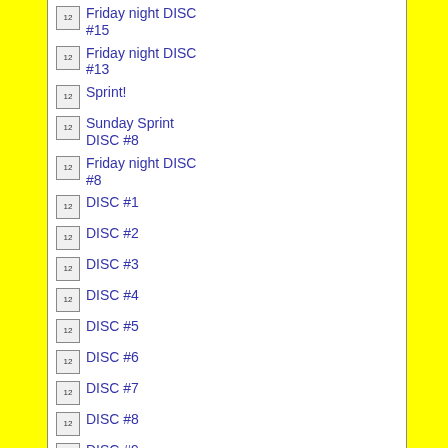Friday night DISC #15
Friday night DISC #13
Sprint!
Sunday Sprint DISC #8
Friday night DISC #8
DISC #1
DISC #2
DISC #3
DISC #4
DISC #5
DISC #6
DISC #7
DISC #8
DISC #9
DISC #10
DISC #11
DISC #12
DISC #13
DISC #14
DISC #15